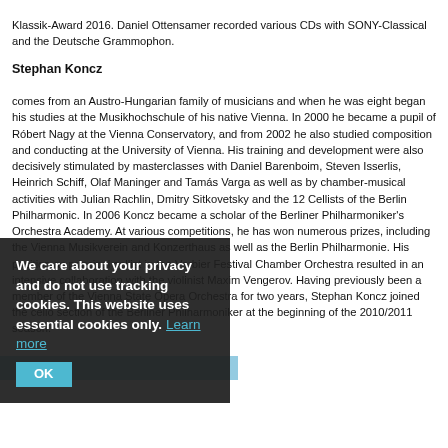Klassik-Award 2016. Daniel Ottensamer recorded various CDs with SONY-Classical and the Deutsche Grammophon.
Stephan Koncz
comes from an Austro-Hungarian family of musicians and when he was eight began his studies at the Musikhochschule of his native Vienna. In 2000 he became a pupil of Róbert Nagy at the Vienna Conservatory, and from 2002 he also studied composition and conducting at the University of Vienna. His training and development were also decisively stimulated by masterclasses with Daniel Barenboim, Steven Isserlis, Heinrich Schiff, Olaf Maninger and Tamás Varga as well as by chamber-musical activities with Julian Rachlin, Dmitry Sitkovetsky and the 12 Cellists of the Berlin Philharmonic. In 2006 Koncz became a scholar of the Berliner Philharmoniker's Orchestra Academy. At various competitions, he has won numerous prizes, including the Vienna Musikverein and Konzerthaus as well as the Berlin Philharmonie. His position as principal cellist in the Verbier Festival Chamber Orchestra resulted in an intensive collaboration with the violinist Maxim Vengerov. Having previously been a member of the Vienna State Opera Orchestra for two years, Stephan Koncz joined the cello section of the Berliner Philharmoniker at the beginning of the 2010/2011 season.
We care about your privacy and do not use tracking cookies. This website uses essential cookies only. Learn more OK